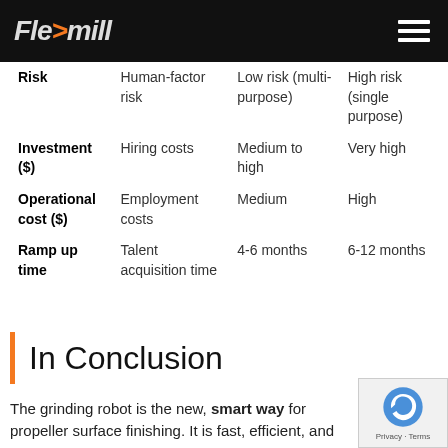Flexmill
|  | Human Workers | Collaborative Robot | Traditional Robot |
| --- | --- | --- | --- |
| Risk | Human-factor risk | Low risk (multi-purpose) | High risk (single purpose) |
| Investment ($) | Hiring costs | Medium to high | Very high |
| Operational cost ($) | Employment costs | Medium | High |
| Ramp up time | Talent acquisition time | 4-6 months | 6-12 months |
In Conclusion
The grinding robot is the new, smart way for propeller surface finishing. It is fast, efficient, and